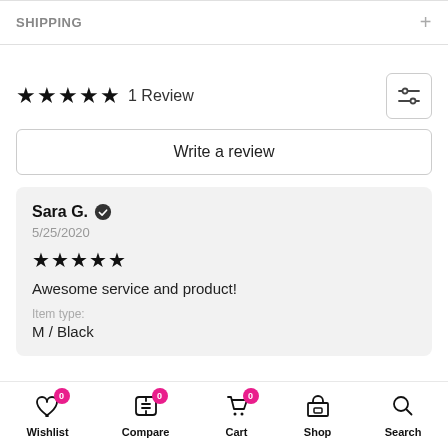SHIPPING
★★★★★ 1 Review
Write a review
Sara G. ✓
5/25/2020
★★★★★
Awesome service and product!
Item type:
M / Black
Wishlist 0  Compare 0  Cart 0  Shop  Search